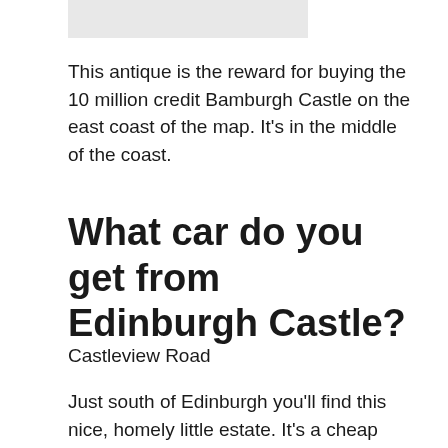[Figure (other): A small rectangular image placeholder at the top of the page]
This antique is the reward for buying the 10 million credit Bamburgh Castle on the east coast of the map. It's in the middle of the coast.
What car do you get from Edinburgh Castle?
Castleview Road
Just south of Edinburgh you'll find this nice, homely little estate. It's a cheap 750,000 credits, and it unlocks the red blazer, allowing you to live out your Bond villain fantasies from behind the wheel of a Porsche...